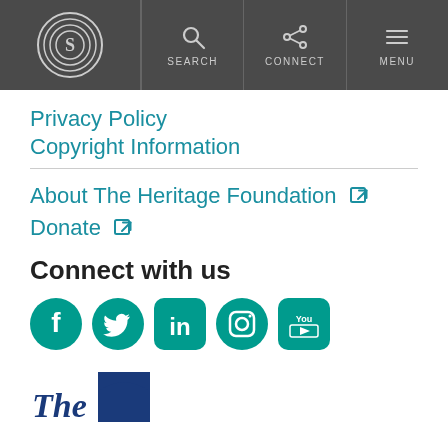Heritage Foundation navigation header with logo, SEARCH, CONNECT, MENU
Privacy Policy
Copyright Information
About The Heritage Foundation [external link]
Donate [external link]
Connect with us
[Figure (logo): Social media icons: Facebook, Twitter, LinkedIn, Instagram, YouTube]
[Figure (logo): The Heritage Foundation logo at bottom of page]